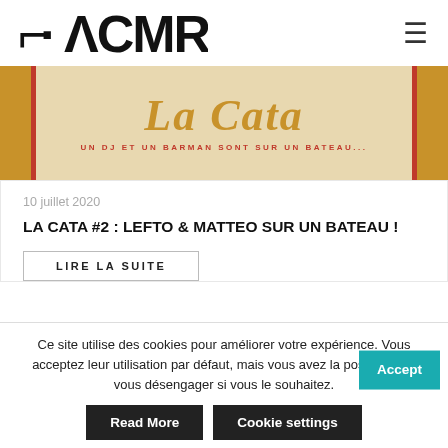[Figure (logo): UACMR logo in black bold text with stylized icon]
[Figure (illustration): La Cata banner: tan/cream background with red border accents, large italic gold text 'La Cata', subtitle 'UN DJ ET UN BARMAN SONT SUR UN BATEAU...' in red uppercase]
10 juillet 2020
LA CATA #2 : LEFTO & MATTEO SUR UN BATEAU !
LIRE LA SUITE
Ce site utilise des cookies pour améliorer votre expérience. Vous acceptez leur utilisation par défaut, mais vous avez la possiblité de vous désengager si vous le souhaitez.
Accept
Read More
Cookie settings